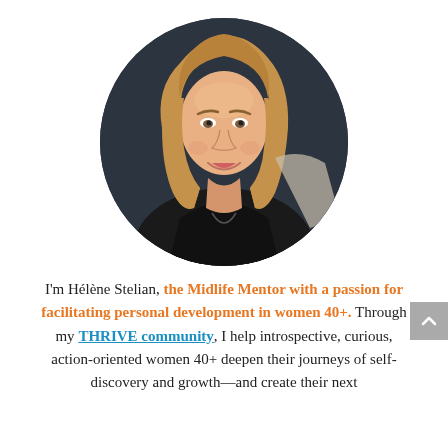[Figure (photo): Circular cropped professional portrait photo of Hélène Stelian, a woman with medium-length blonde hair, smiling, wearing a black top, against a dark background.]
I'm Hélène Stelian, the Midlife Mentor with a passion for facilitating personal development in women 40+. Through my THRIVE community, I help introspective, curious, action-oriented women 40+ deepen their journeys of self-discovery and growth—and create their next